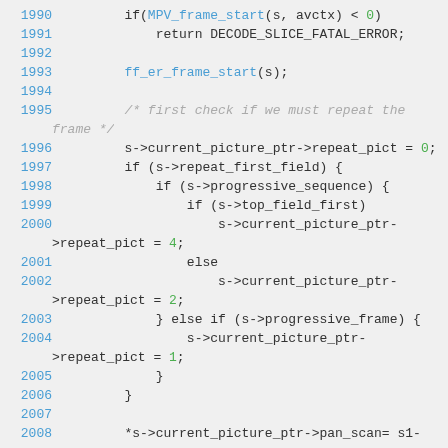[Figure (screenshot): Source code listing lines 1990-2009 in C, showing MPV frame decoding logic with line numbers in blue and code in monospace font on a light gray background.]